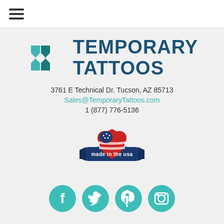☰ (hamburger menu)
[Figure (logo): Temporary Tattoos logo with teal geometric chevron/arrow icon and dark blue bold text reading TEMPORARY TATTOOS]
3761 E Technical Dr. Tucson, AZ 85713
Sales@TemporaryTattoos.com
1 (877) 776-5136
[Figure (illustration): Made in the USA badge with heart shape in American flag colors (red, white, blue) and navy blue ribbon banner with text 'made in the usa']
[Figure (illustration): Four teal circular social media icons: Facebook, Twitter, Pinterest, Instagram]